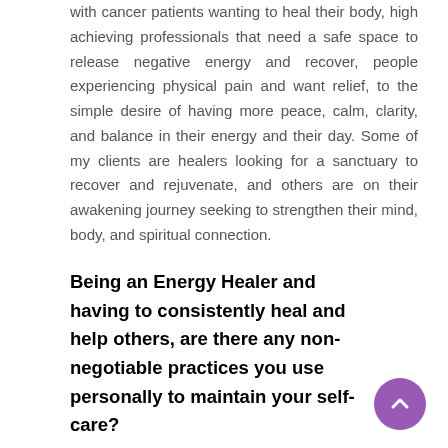with cancer patients wanting to heal their body, high achieving professionals that need a safe space to release negative energy and recover, people experiencing physical pain and want relief, to the simple desire of having more peace, calm, clarity, and balance in their energy and their day. Some of my clients are healers looking for a sanctuary to recover and rejuvenate, and others are on their awakening journey seeking to strengthen their mind, body, and spiritual connection.
Being an Energy Healer and having to consistently heal and help others, are there any non-negotiable practices you use personally to maintain your self-care?